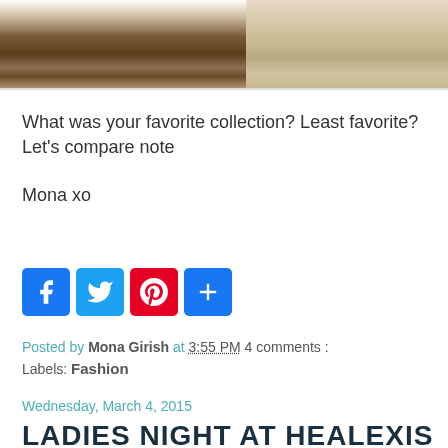[Figure (photo): Two cropped photos of shoes/legs side by side: left shows black flats on wooden floor, right shows tan ankle boots on light background]
What was your favorite collection? Least favorite? Let's compare note
Mona xo
[Figure (infographic): Social media share buttons: Facebook (blue), Twitter (light blue), Pinterest (red), Plus/Share (blue)]
Posted by Mona Girish at 3:55 PM 4 comments :
Labels: Fashion
Wednesday, March 4, 2015
LADIES NIGHT AT HEALEXIS